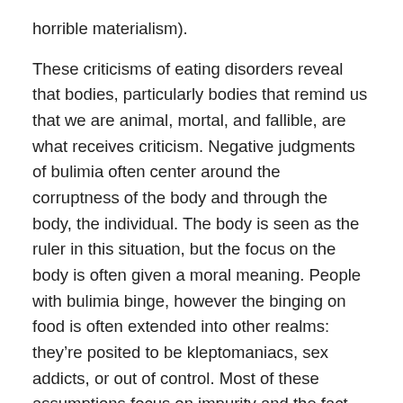horrible materialism).
These criticisms of eating disorders reveal that bodies, particularly bodies that remind us that we are animal, mortal, and fallible, are what receives criticism. Negative judgments of bulimia often center around the corruptness of the body and through the body, the individual. The body is seen as the ruler in this situation, but the focus on the body is often given a moral meaning. People with bulimia binge, however the binging on food is often extended into other realms: they’re posited to be kleptomaniacs, sex addicts, or out of control. Most of these assumptions focus on impurity and the fact that binging and purging “taints” the individual. I’ve often heard them referred to as “failed anorexics”. This means that they have failed at the purity that those with anorexia achieve because they allow their